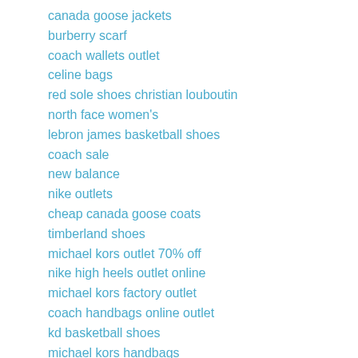canada goose jackets
burberry scarf
coach wallets outlet
celine bags
red sole shoes christian louboutin
north face women's
lebron james basketball shoes
coach sale
new balance
nike outlets
cheap canada goose coats
timberland shoes
michael kors outlet 70% off
nike high heels outlet online
michael kors factory outlet
coach handbags online outlet
kd basketball shoes
michael kors handbags
oakley outlet
hermes birkin
fitflop outlet store
fitflops clearance